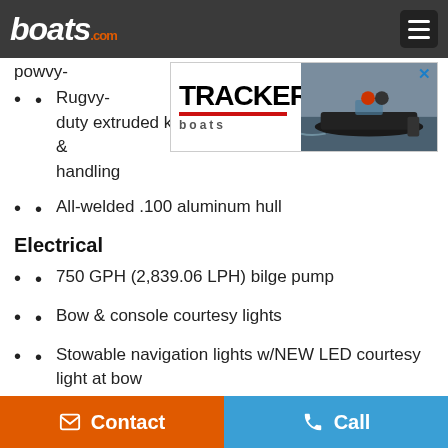boats.com
[Figure (other): Tracker Boats advertisement banner with logo on left and boat image on right, with an X close button]
pow...vy-duty extruded keel & chines for structural strength & handling
Rugged...heavy-duty extruded keel & chines for structural strength & handling
All-welded .100 aluminum hull
Electrical
750 GPH (2,839.06 LPH) bilge pump
Bow & console courtesy lights
Stowable navigation lights w/NEW LED courtesy light at bow
Contact | Call